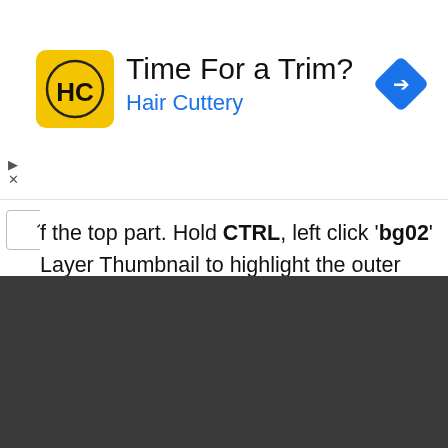[Figure (illustration): Hair Cuttery advertisement banner with yellow HC logo, 'Time For a Trim?' headline, blue 'Hair Cuttery' subtitle, and blue diamond navigation icon on the right]
f the top part. Hold CTRL, left click 'bg02' Layer Thumbnail to highlight the outer shape; choose Eclipse Marquee Tool. Now hold ALT, with Eclipse Marquee Tool selected, drag is across to minus out bottom half of the highlighted area. Refer to image above.
[Figure (screenshot): Dark gray/charcoal background area at the bottom of the page]